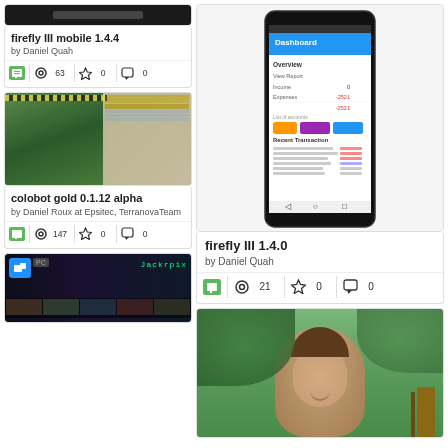[Figure (screenshot): firefly III mobile app card with dark image at top]
firefly III mobile 1.4.4
by Daniel Quah
63  0  0
[Figure (screenshot): colobot gold game screenshot showing 3D game scene and text editor]
colobot gold 0.1.12 alpha
by Daniel Roux at Epsitec, TerranovaTeam
147  0  0
[Figure (screenshot): Bottom left card showing dark movie/media style image]
[Figure (screenshot): firefly III mobile app dashboard screenshot on phone]
firefly III 1.4.0
by Daniel Quah
21  0  0
[Figure (photo): Photo of a smiling man outdoors with green foliage background]